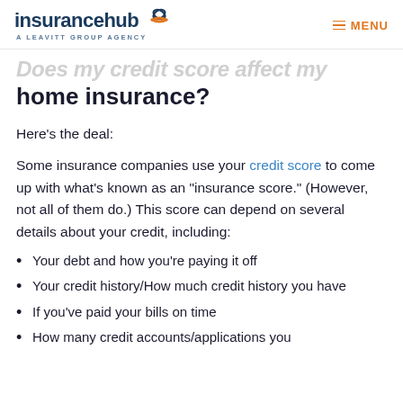insurancehub — A LEAVITT GROUP AGENCY | MENU
Does my credit score affect my home insurance?
Here's the deal:
Some insurance companies use your credit score to come up with what's known as an "insurance score." (However, not all of them do.) This score can depend on several details about your credit, including:
Your debt and how you're paying it off
Your credit history/How much credit history you have
If you've paid your bills on time
How many credit accounts/applications you